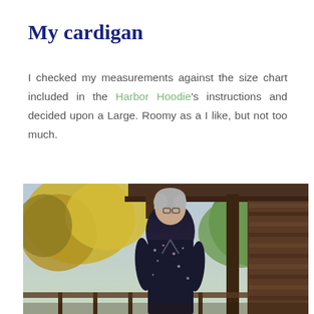My cardigan
I checked my measurements against the size chart included in the Harbor Hoodie's instructions and decided upon a Large. Roomy as a I like, but not too much.
[Figure (photo): A woman with short grey hair and glasses wearing a dark floral cardigan, standing on a wooden porch or deck with autumn trees and greenery visible in the background.]